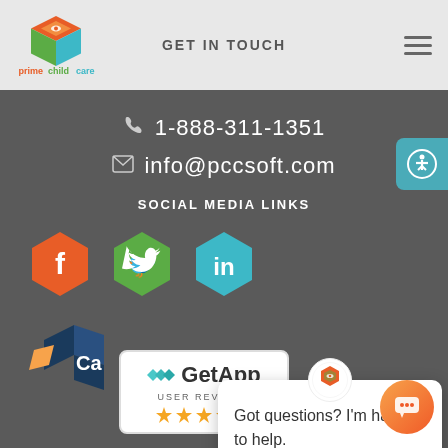[Figure (logo): primechildcare software logo with orange/green/teal cube icon]
GET IN TOUCH
1-888-311-1351
info@pccsoft.com
SOCIAL MEDIA LINKS
[Figure (illustration): Three hexagon social media icons: Facebook (orange), Twitter (green), LinkedIn (teal)]
[Figure (illustration): Chat popup with primechildcare logo: 'Got questions? I'm happy to help.']
[Figure (illustration): GetApp User Reviews badge with star ratings]
[Figure (illustration): Orange chatbot button icon]